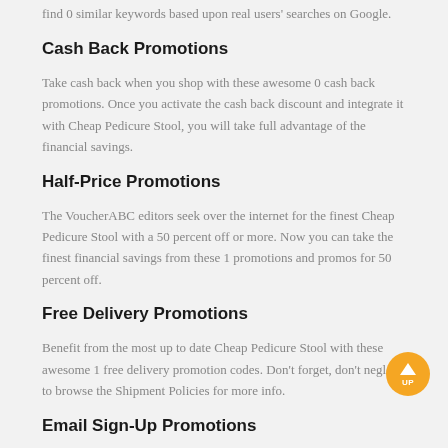find 0 similar keywords based upon real users' searches on Google.
Cash Back Promotions
Take cash back when you shop with these awesome 0 cash back promotions. Once you activate the cash back discount and integrate it with Cheap Pedicure Stool, you will take full advantage of the financial savings.
Half-Price Promotions
The VoucherABC editors seek over the internet for the finest Cheap Pedicure Stool with a 50 percent off or more. Now you can take the finest financial savings from these 1 promotions and promos for 50 percent off.
Free Delivery Promotions
Benefit from the most up to date Cheap Pedicure Stool with these awesome 1 free delivery promotion codes. Don't forget, don't neglect to browse the Shipment Policies for more info.
Email Sign-Up Promotions
Enter email to be the first to know about the most up to date Cheap Pedicure Stool. Sometimes you will take a special promotion code that can save 10-20% on your first or next purchase.